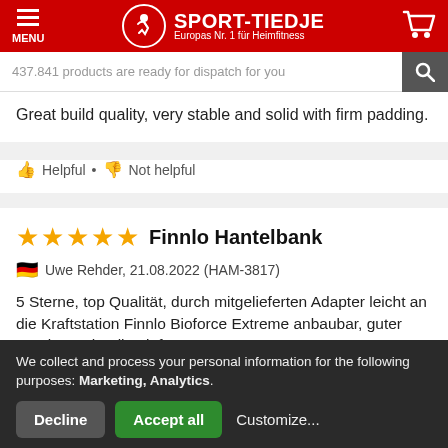[Figure (logo): Sport-Tiedje logo with red background, white running figure in circle, brand name and tagline 'Europas Nr. 1 für Heimfitness', menu icon and cart icon]
437.841 products are ready for dispatch for you
Great build quality, very stable and solid with firm padding.
👍 Helpful • 👎 Not helpful
★★★★★ Finnlo Hantelbank
🇩🇪 Uwe Rehder, 21.08.2022 (HAM-3817)
5 Sterne, top Qualität, durch mitgelieferten Adapter leicht an die Kraftstation Finnlo Bioforce Extreme anbaubar, guter Service, schnelle Lieferung, 5 Sterne
We collect and process your personal information for the following purposes: Marketing, Analytics.
Decline  Accept all  Customize...